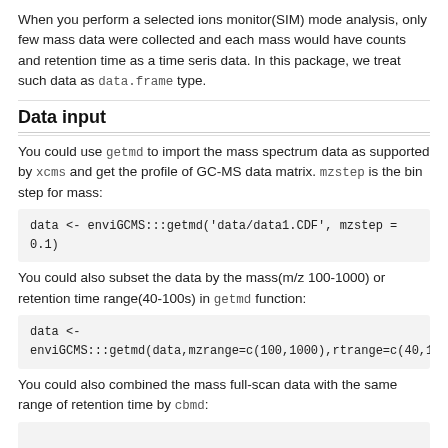When you perform a selected ions monitor(SIM) mode analysis, only few mass data were collected and each mass would have counts and retention time as a time seris data. In this package, we treat such data as data.frame type.
Data input
You could use getmd to import the mass spectrum data as supported by xcms and get the profile of GC-MS data matrix. mzstep is the bin step for mass:
data <- enviGCMS:::getmd('data/data1.CDF', mzstep = 0.1)
You could also subset the data by the mass(m/z 100-1000) or retention time range(40-100s) in getmd function:
data <-
enviGCMS:::getmd(data,mzrange=c(100,1000),rtrange=c(40,100
You could also combined the mass full-scan data with the same range of retention time by cbmd: